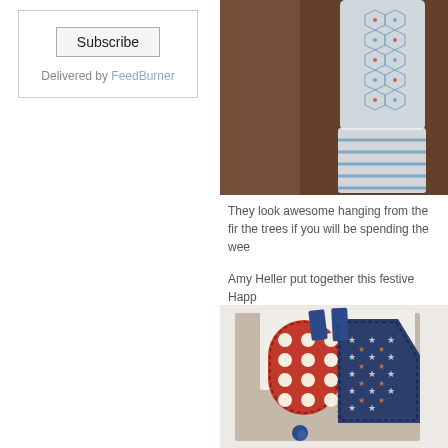Subscribe
Delivered by FeedBurner
[Figure (photo): Patriotic decorative ornaments or bunting hanging, with patterned fabric including hexagon and star designs in red, white, and blue, against a brown/wooden background]
They look awesome hanging from the fir... the trees if you will be spending the wee...
Amy Heller put together this festive Happ...
[Figure (photo): Close-up of patriotic themed craft card or scrapbook layout featuring red polka dot and navy star-patterned fabric letters, with blue ribbon accents, on a kraft/brown cardboard background]